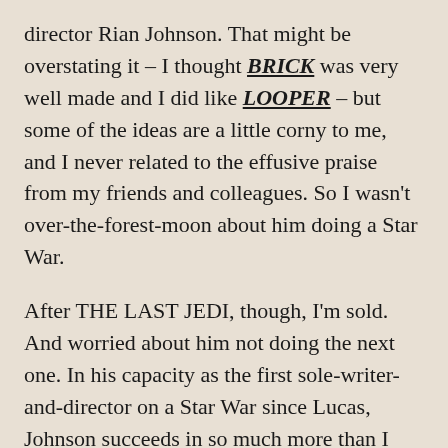director Rian Johnson. That might be overstating it – I thought BRICK was very well made and I did like LOOPER – but some of the ideas are a little corny to me, and I never related to the effusive praise from my friends and colleagues. So I wasn't over-the-forest-moon about him doing a Star War.

After THE LAST JEDI, though, I'm sold. And worried about him not doing the next one. In his capacity as the first sole-writer-and-director on a Star War since Lucas, Johnson succeeds in so much more than I could've hoped: continuing and deepening the characters from THE FORCE AWAKENS, bringing back Luke Skywalker for a powerful completion to his arc, thrillingly upending some of our expectations, putting a personal mark on the world of Star Wars, and